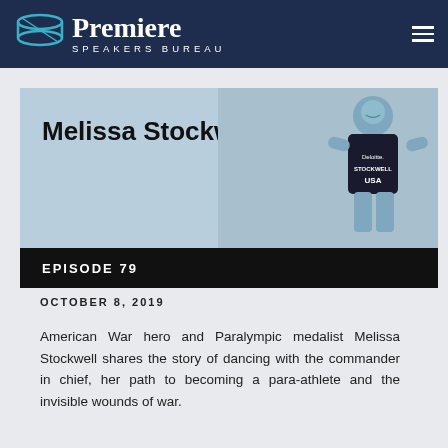Premiere Speakers Bureau
Melissa Stockwell
EPISODE 79
OCTOBER 8, 2019
American War hero and Paralympic medalist Melissa Stockwell shares the story of dancing with the commander in chief, her path to becoming a para-athlete and the invisible wounds of war.
To learn more about Melissa Stockwell visit: